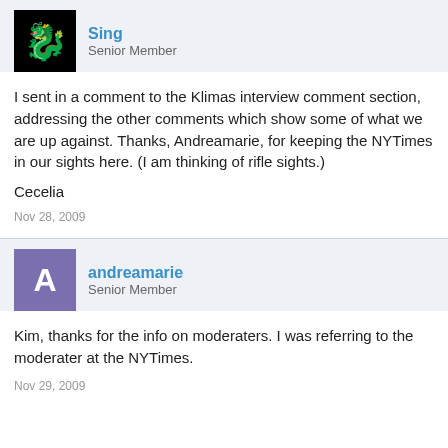Sing
Senior Member
I sent in a comment to the Klimas interview comment section, addressing the other comments which show some of what we are up against. Thanks, Andreamarie, for keeping the NYTimes in our sights here. (I am thinking of rifle sights.)

Cecelia
Nov 28, 2009
andreamarie
Senior Member
Kim, thanks for the info on moderaters. I was referring to the moderater at the NYTimes.
Nov 29, 2009